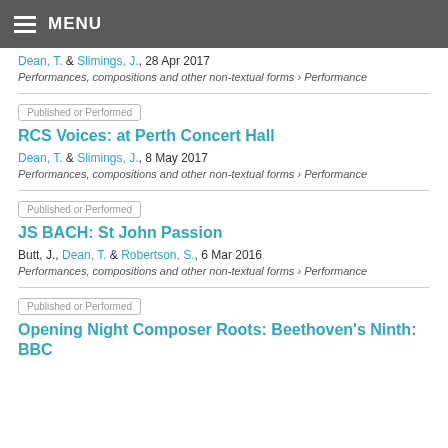MENU
Dean, T. & Slimings, J., 28 Apr 2017
Performances, compositions and other non-textual forms › Performance
Published or Performed
RCS Voices: at Perth Concert Hall
Dean, T. & Slimings, J., 8 May 2017
Performances, compositions and other non-textual forms › Performance
Published or Performed
JS BACH: St John Passion
Butt, J., Dean, T. & Robertson, S., 6 Mar 2016
Performances, compositions and other non-textual forms › Performance
Published or Performed
Opening Night Composer Roots: Beethoven's Ninth: BBC